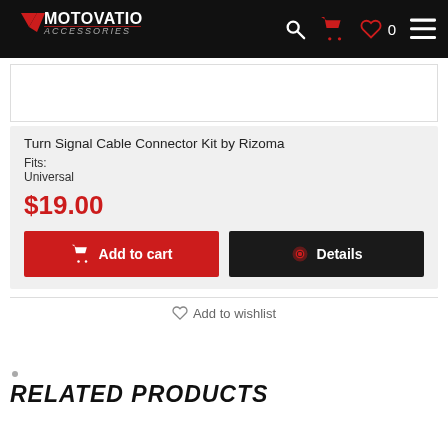Motovation Accessories
[Figure (photo): Product image placeholder - white box]
Turn Signal Cable Connector Kit by Rizoma
Fits: Universal
$19.00
Add to cart | Details
Add to wishlist
RELATED PRODUCTS